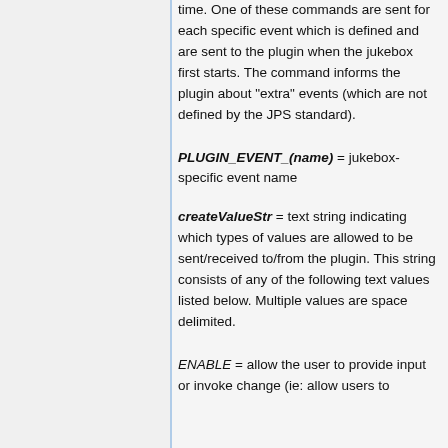time. One of these commands are sent for each specific event which is defined and are sent to the plugin when the jukebox first starts. The command informs the plugin about "extra" events (which are not defined by the JPS standard).
PLUGIN_EVENT_(name) = jukebox-specific event name
createValueStr = text string indicating which types of values are allowed to be sent/received to/from the plugin. This string consists of any of the following text values listed below. Multiple values are space delimited.
ENABLE = allow the user to provide input or invoke change (ie: allow users to